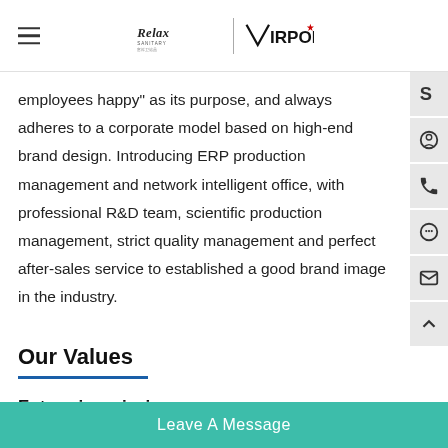Relax Sanitary | VIRPOL (logo header)
employees happy" as its purpose, and always adheres to a corporate model based on high-end brand design. Introducing ERP production management and network intelligent office, with professional R&D team, scientific production management, strict quality management and perfect after-sales service to established a good brand image in the industry.
Our Values
Enterprise mission:
Let customers... gold shine...